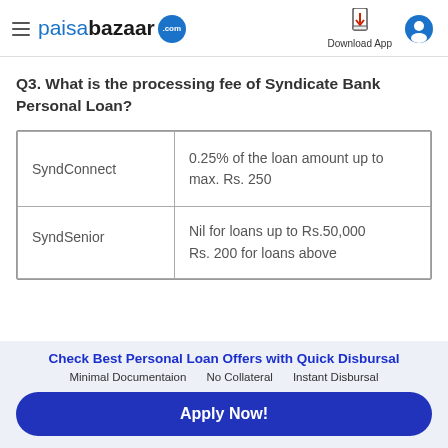paisabazaar.com — Download App
Q3. What is the processing fee of Syndicate Bank Personal Loan?
|  | Processing Fee |
| --- | --- |
| SyndConnect | 0.25% of the loan amount up to max. Rs. 250 |
| SyndSenior | Nil for loans up to Rs.50,000
Rs. 200 for loans above Rs.50,000 |
Check Best Personal Loan Offers with Quick Disbursal
Minimal Documentaion   No Collateral   Instant Disbursal
Apply Now!